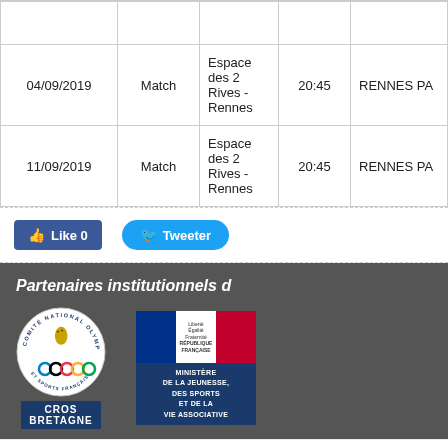| Date | Type | Lieu | Heure | Équipe |
| --- | --- | --- | --- | --- |
|  |  |  |  |  |
| 04/09/2019 | Match | Espace des 2 Rives - Rennes | 20:45 | RENNES PA... |
| 11/09/2019 | Match | Espace des 2 Rives - Rennes | 20:45 | RENNES PA... |
Like 0
Tweeter
Partenaires institutionnels d...
[Figure (logo): CROS Bretagne - Comité National Olympique et Sports Français logo with Olympic rings]
[Figure (logo): Ministère de la Jeunesse, des Sports et de la Vie Associative - République Française logo]
© 2013 basketbretagne.com - Ligue de Bretagne de Basket-ball - Tous dro...